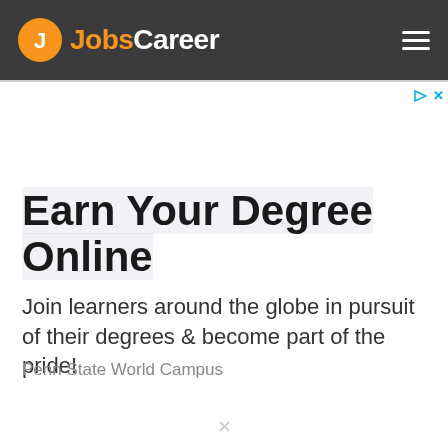JobsCareer
Earn Your Degree Online
Join learners around the globe in pursuit of their degrees & become part of the pride!
Penn State World Campus